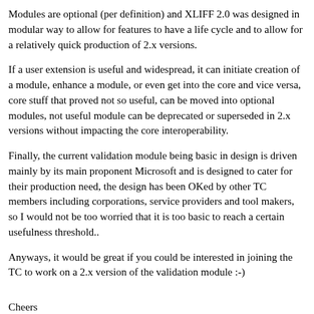Modules are optional (per definition) and XLIFF 2.0 was designed in modular way to allow for features to have a life cycle and to allow for a relatively quick production of 2.x versions.
If a user extension is useful and widespread, it can initiate creation of a module, enhance a module, or even get into the core and vice versa, core stuff that proved not so useful, can be moved into optional modules, not useful module can be deprecated or superseded in 2.x versions without impacting the core interoperability.
Finally, the current validation module being basic in design is driven mainly by its main proponent Microsoft and is designed to cater for their production need, the design has been OKed by other TC members including corporations, service providers and tool makers, so I would not be too worried that it is too basic to reach a certain usefulness threshold..
Anyways, it would be great if you could be interested in joining the TC to work on a 2.x version of the validation module :-)
Cheers
dF